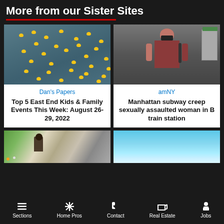More from our Sister Sites
[Figure (photo): Yellow rubber ducks floating in grey water]
Dan's Papers
Top 5 East End Kids & Family Events This Week: August 26-29, 2022
[Figure (photo): Man with mask and backpack at subway station]
amNY
Manhattan subway creep sexually assaulted woman in B train station
[Figure (photo): Festival scene with crowd and person in hat]
[Figure (photo): Sky and horizon photo]
Sections  Home Pros  Contact  Real Estate  Jobs